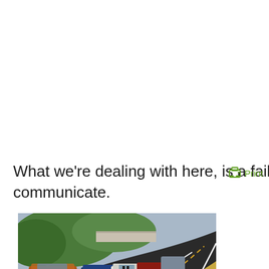What we're dealing with here, is a failure to communicate.
[Figure (photo): A convoy of open-top sports cars (including a copper/orange car in foreground and blue cars behind) driving along a curving road with hills and trees in background, viewed from behind.]